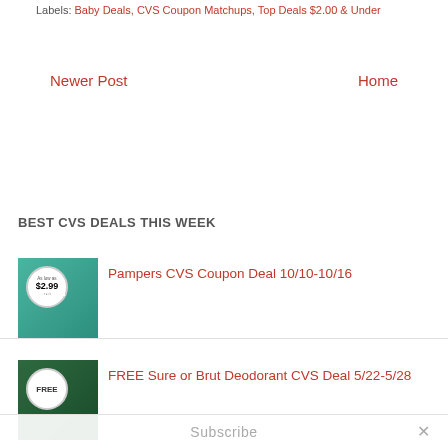Labels: Baby Deals, CVS Coupon Matchups, Top Deals $2.00 & Under
Newer Post    Home
BEST CVS DEALS THIS WEEK
[Figure (photo): Pampers baby diapers product image with $2.99 price badge]
Pampers CVS Coupon Deal 10/10-10/16
[Figure (photo): Brut deodorant product image with FREE badge]
FREE Sure or Brut Deodorant CVS Deal 5/22-5/28
Subscribe